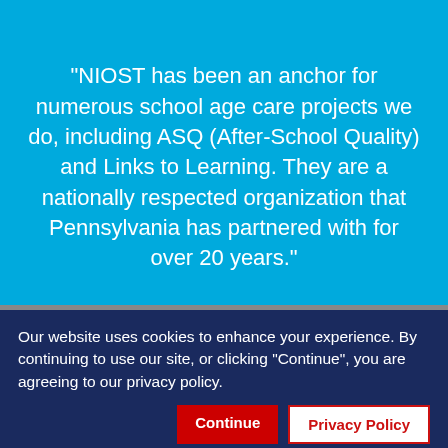"NIOST has been an anchor for numerous school age care projects we do, including ASQ (After-School Quality) and Links to Learning. They are a nationally respected organization that Pennsylvania has partnered with for over 20 years."
FELLOWSHIP
2017-2019 Cohort
Our website uses cookies to enhance your experience. By continuing to use our site, or clicking "Continue", you are agreeing to our privacy policy.